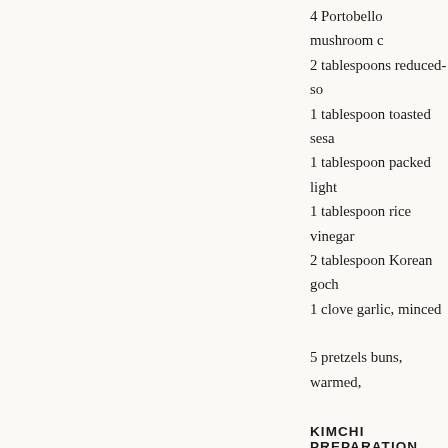4 Portobello mushroom c
2 tablespoons reduced-so
1 tablespoon toasted sesa
1 tablespoon packed light
1 tablespoon rice vinegar
2 tablespoon Korean goch
1 clove garlic, minced
5 pretzels buns, warmed,
KIMCHI PREPARATION
Combine salt and Brussels sprouts, rinse, drain, and...
Pulse scallions, fennel seeds in a sprouts and toss...
Cover bowl and tossing occasion...
PORTOBELLO PREPAR